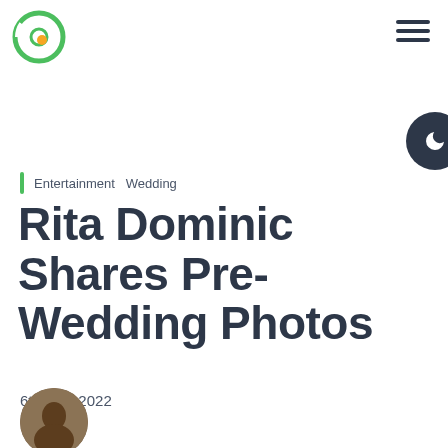Centric logo and navigation
Entertainment  Wedding
Rita Dominic Shares Pre-Wedding Photos
6th April 2022
[Figure (photo): Author avatar photo - circular cropped portrait]